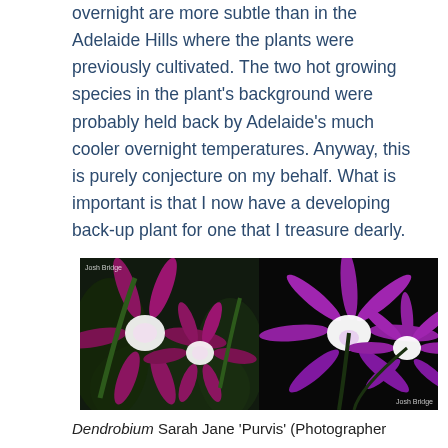overnight are more subtle than in the Adelaide Hills where the plants were previously cultivated. The two hot growing species in the plant's background were probably held back by Adelaide's much cooler overnight temperatures. Anyway, this is purely conjecture on my behalf. What is important is that I now have a developing back-up plant for one that I treasure dearly.
[Figure (photo): Two side-by-side photographs of Dendrobium Sarah Jane 'Purvis' orchid flowers showing purple/magenta petals with white centers against dark backgrounds. Left photo credited to Josh Bridge, right photo also credited to Josh Bridge.]
Dendrobium Sarah Jane 'Purvis' (Photographer